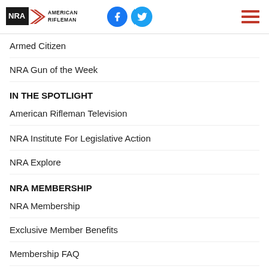NRA American Rifleman — header with logo, social icons, and menu
Armed Citizen
NRA Gun of the Week
IN THE SPOTLIGHT
American Rifleman Television
NRA Institute For Legislative Action
NRA Explore
NRA MEMBERSHIP
NRA Membership
Exclusive Member Benefits
Membership FAQ
Manage Your Membership
[Figure (logo): NRA Member seal and NRA wordmark logos at bottom of page]